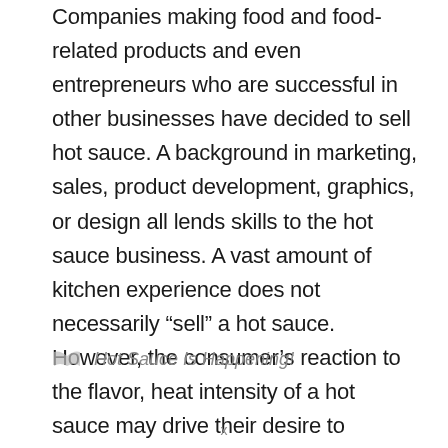Companies making food and food-related products and even entrepreneurs who are successful in other businesses have decided to sell hot sauce. A background in marketing, sales, product development, graphics, or design all lends skills to the hot sauce business. A vast amount of kitchen experience does not necessarily “sell” a hot sauce. However, the consumer’s reaction to the flavor, heat intensity of a hot sauce may drive their desire to include your hot sauce as one of their favorites.
Hot Sauce Is Happening!